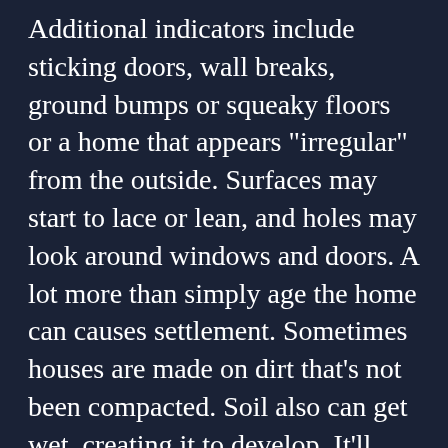Additional indicators include sticking doors, wall breaks, ground bumps or squeaky floors or a home that appears "irregular" from the outside. Surfaces may start to lace or lean, and holes may look around windows and doors. A lot more than simply age the home can causes settlement. Sometimes houses are made on dirt that's not been compacted. Soil also can get wet, creating it to develop. It'll decrease while it dries. Extreme settlement may appear in both cases, which may further damage a foundation. Inadequate drainage and plumbing leaks can also harms your foundation. It might eventually go off the muse, especially during an earthquake, when there is a ground sloping. The 10 Best Resources For Options A foundation repair expert is the best person to talk to about foundation issues, especially if you are seeing signs of settlement. There are lots of approaches to restore a foundation. An experienced foundation pro may inspect your premises to determine what is evoking the condition and will fix any problems. On Companies: